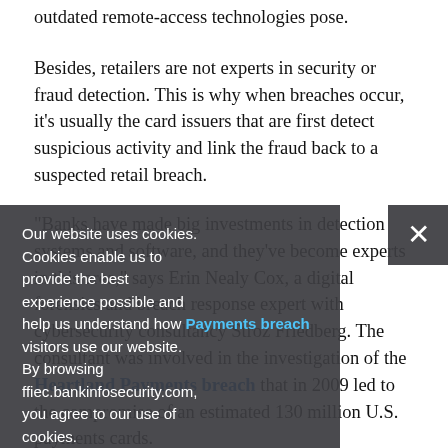outdated remote-access technologies pose.
Besides, retailers are not experts in security or fraud detection. This is why when breaches occur, it's usually the card issuers that are first detect suspicious activity and link the fraud back to a suspected retail breach.
"Banks have made big investments in detection systems and software, and they've become experts in this area," says Erin Nealy Cox, a digital forensics and breach response expert with cybersecurity consultancy Stroz Friedberg. The consultant was involved in the investigation of the Heartland Payments breach that in 2009 led to the compromise of an estimated 130 million U.S. payments cards.
Regulatory guidelines issued for banking institutions, such as the updated authentication guidance released by the
Our website uses cookies.
Cookies enable us to provide the best experience possible and help us understand how visitors use our website. By browsing ffiec.bankinfosecurity.com, you agree to our use of cookies.